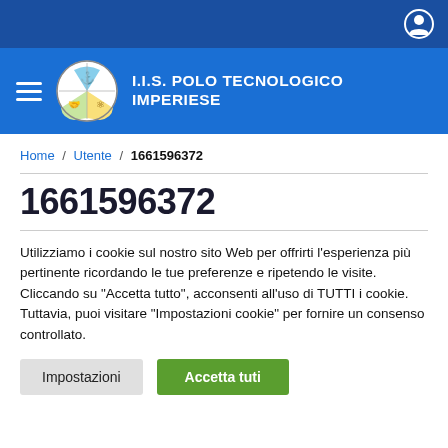I.I.S. POLO TECNOLOGICO IMPERIESE
Home / Utente / 1661596372
1661596372
Utilizziamo i cookie sul nostro sito Web per offrirti l'esperienza più pertinente ricordando le tue preferenze e ripetendo le visite. Cliccando su "Accetta tutto", acconsenti all'uso di TUTTI i cookie. Tuttavia, puoi visitare "Impostazioni cookie" per fornire un consenso controllato.
Impostazioni | Accetta tuti